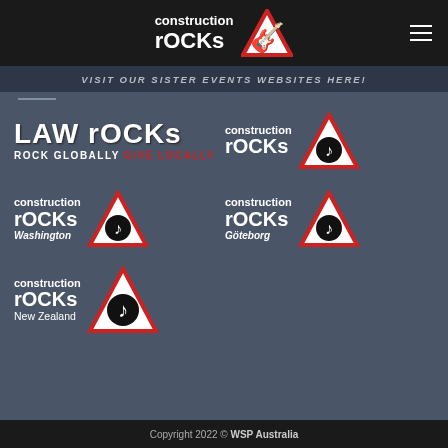construction rocks
VISIT OUR SISTER EVENTS WEBSITES HERE!
[Figure (logo): Law Rocks - Rock Globally Give Locally logo]
[Figure (logo): Construction Rocks logo with triangle warning sign]
[Figure (logo): Construction Rocks Washington logo with triangle warning sign]
[Figure (logo): Construction Rocks Göteborg logo with triangle warning sign]
[Figure (logo): Construction Rocks New Zealand logo with triangle warning sign]
Copyright 2022 © WSP Australia